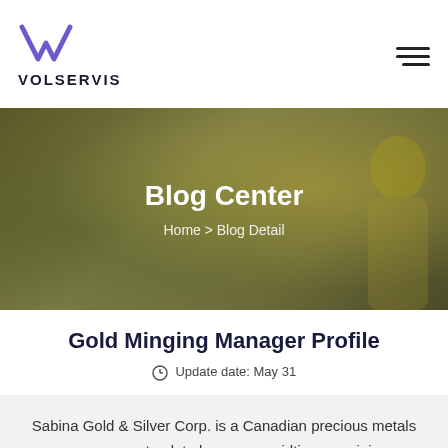[Figure (logo): Volservis logo with stylized V in purple/violet and text VOLSERVIS below]
[Figure (photo): Worker in yellow safety vest, dark overlay background for hero banner]
Blog Center
Home > Blog Detail
Gold Minging Manager Profile
Update date: May 31
Sabina Gold & Silver Corp. is a Canadian precious metals company on track to become a midtier - ... mining engineering, or another relevant field. • Ten years of relate...